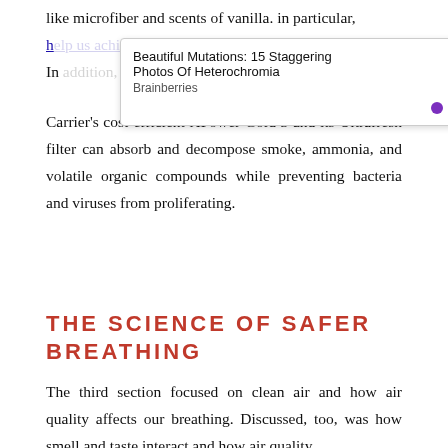like microfiber and scents of vanilla. in particular, h[elp us achiev]e [a harmonious environment]. In addition, it r[epresented at the event. TV] Carrier's cost-efficient XPower Gold 3 and its Ultrafresh filter can absorb and decompose smoke, ammonia, and volatile organic compounds while preventing bacteria and viruses from proliferating.
[Figure (other): Advertisement overlay: 'Beautiful Mutations: 15 Staggering Photos Of Heterochromia' by Brainberries, with PurpleAds badge and close button]
THE SCIENCE OF SAFER BREATHING
The third section focused on clean air and how air quality affects our breathing. Discussed, too, was how smell and taste interact and how air quality